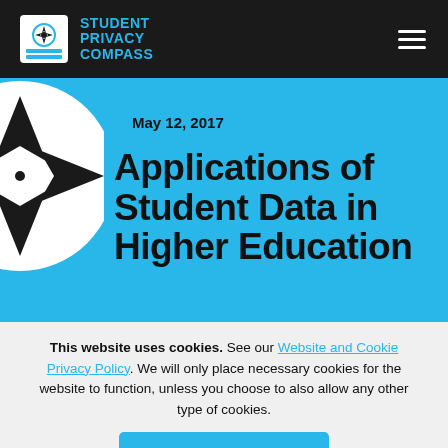STUDENT PRIVACY COMPASS
May 12, 2017
Applications of Student Data in Higher Education
This website uses cookies. See our Website and Cookie Privacy Policy. We will only place necessary cookies for the website to function, unless you choose to also allow any other type of cookies.
I Agree